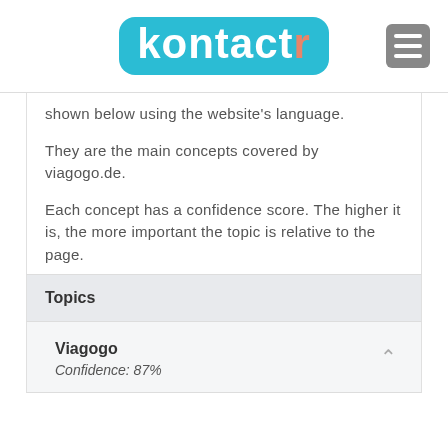kontactr
shown below using the website's language.

They are the main concepts covered by viagogo.de.

Each concept has a confidence score. The higher it is, the more important the topic is relative to the page.
Topics
Viagogo
Confidence: 87%